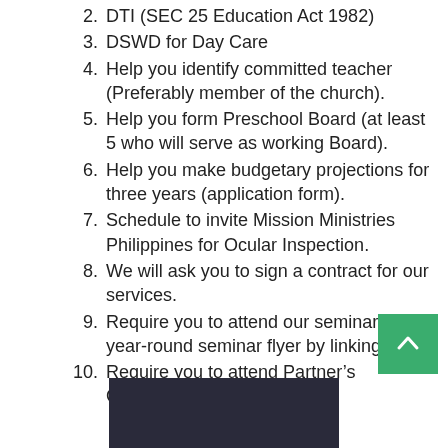2. DTI (SEC 25 Education Act 1982)
3. DSWD for Day Care
4. Help you identify committed teacher (Preferably member of the church).
5. Help you form Preschool Board (at least 5 who will serve as working Board).
6. Help you make budgetary projections for three years (application form).
7. Schedule to invite Mission Ministries Philippines for Ocular Inspection.
8. We will ask you to sign a contract for our services.
9. Require you to attend our seminars (see year-round seminar flyer by linking here).
10. Require you to attend Partner’s Orientation as scheduled.
[Figure (photo): Partial photo visible at the bottom of the page, appears to show a person]